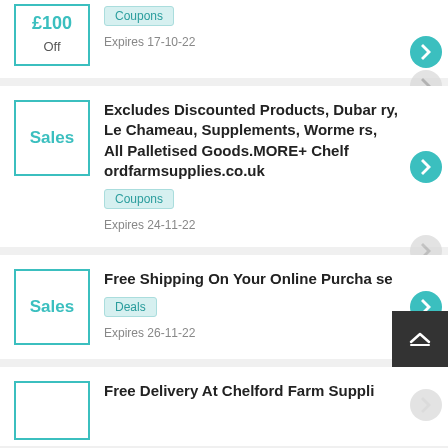£100 Off
Coupons
Expires 17-10-22
Excludes Discounted Products, Dubarry, Le Chameau, Supplements, Wormers, All Palletised Goods.MORE+ Chelfordfarmsupplies.co.uk
Coupons
Expires 24-11-22
Free Shipping On Your Online Purchase
Deals
Expires 26-11-22
Free Delivery At Chelford Farm Suppli...